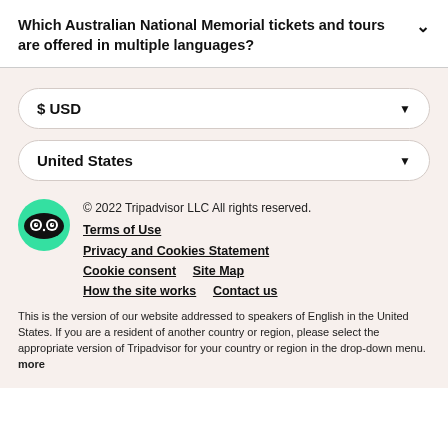Which Australian National Memorial tickets and tours are offered in multiple languages?
[Figure (screenshot): Currency dropdown selector showing $USD with a downward arrow]
[Figure (screenshot): Country dropdown selector showing United States with a downward arrow]
© 2022 Tripadvisor LLC All rights reserved. Terms of Use  Privacy and Cookies Statement  Cookie consent  Site Map  How the site works  Contact us
This is the version of our website addressed to speakers of English in the United States. If you are a resident of another country or region, please select the appropriate version of Tripadvisor for your country or region in the drop-down menu. more